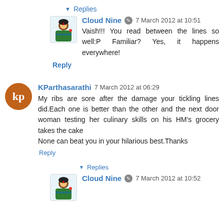▾ Replies
Cloud Nine [mod icon] 7 March 2012 at 10:51
Vaish!!! You read between the lines so well:P Familiar? Yes, it happens everywhere!
Reply
KParthasarathi 7 March 2012 at 06:29
My ribs are sore after the damage your tickling lines did.Each one is better than the other and the next door woman testing her culinary skills on his HM's grocery takes the cake
None can beat you in your hilarious best.Thanks
Reply
▾ Replies
Cloud Nine [mod icon] 7 March 2012 at 10:52